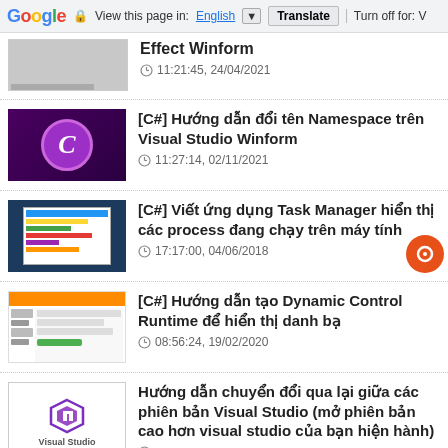Google — View this page in: English Translate Turn off for: V
Effect Winform — 11:21:45, 24/04/2021
[C#] Hướng dẫn đổi tên Namespace trên Visual Studio Winform — 11:27:14, 02/11/2021
[C#] Viết ứng dụng Task Manager hiển thị các process đang chạy trên máy tính — 17:17:00, 04/06/2018
[C#] Hướng dẫn tạo Dynamic Control Runtime để hiển thị danh bạ — 08:56:24, 19/02/2020
Hướng dẫn chuyển đổi qua lại giữa các phiên bản Visual Studio (mở phiên bản cao hơn visual studio của bạn hiện hành) — 20:39:46, 22/12/2016
[C#] Tự động khóa ứng dụng hoặc thoát sau khoảng thời gian không sử dụng (Automatic...